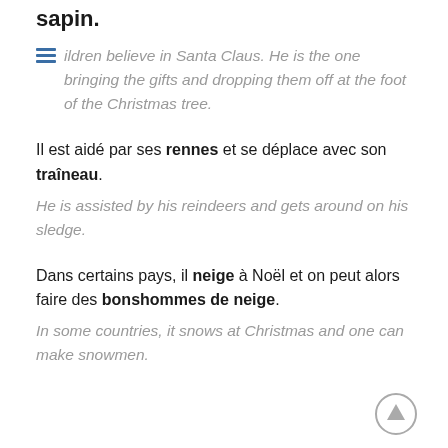sapin.
ildren believe in Santa Claus. He is the one bringing the gifts and dropping them off at the foot of the Christmas tree.
Il est aidé par ses rennes et se déplace avec son traîneau.
He is assisted by his reindeers and gets around on his sledge.
Dans certains pays, il neige à Noël et on peut alors faire des bonshommes de neige.
In some countries, it snows at Christmas and one can make snowmen.